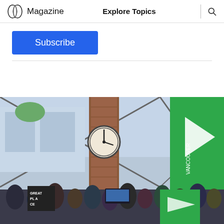Magazine   Explore Topics
Subscribe
[Figure (photo): Indoor event venue with a large clock mounted on a brick pillar, steel truss roof with glass panels, a crowd of people attending an event, green Vancouver branded banners on the right side, and a 'Great Place' sign visible in the lower left.]